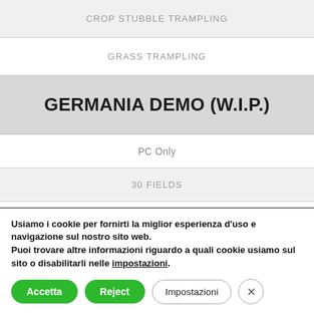CROP STUBBLE TRAMPLING
GRASS TRAMPLING
GERMANIA DEMO (W.I.P.)
PC Only
30 FIELDS
5 Grass FIELDS
Usiamo i cookie per fornirti la miglior esperienza d'uso e navigazione sul nostro sito web. Puoi trovare altre informazioni riguardo a quali cookie usiamo sul sito o disabilitarli nelle impostazioni.